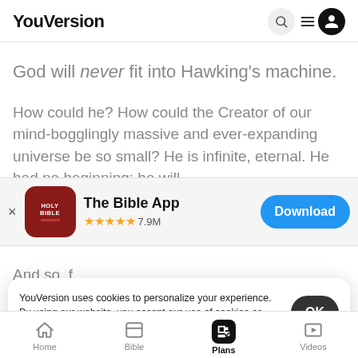YouVersion
God will never fit into Hawking's machine.
How could he? How could the Creator of our mind-bogglingly massive and ever-expanding universe be so small? He is infinite, eternal. He had no beginning; he will
[Figure (screenshot): App download banner for 'The Bible App' with Holy Bible icon, 5-star rating, 7.9M ratings, and Download button]
And so, f gigantic,
YouVersion uses cookies to personalize your experience. By using our website, you accept our use of cookies as described in our Privacy Policy.
Home  Bible  Plans  Videos